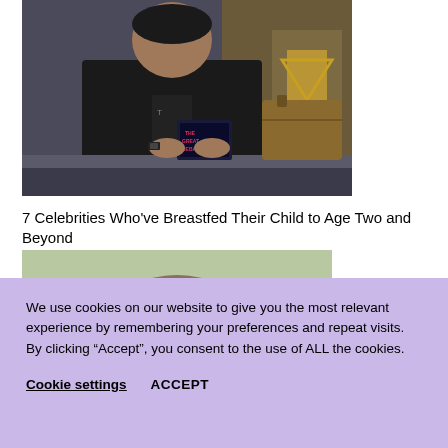[Figure (photo): A person in a black jacket sitting at a desk holding a book with text 'THE GREAT DEBATE' on the cover. Background shows a studio setting.]
7 Celebrities Who've Breastfed Their Child to Age Two and Beyond
[Figure (photo): Partial photo showing the top of a person's head against a light green background.]
We use cookies on our website to give you the most relevant experience by remembering your preferences and repeat visits. By clicking “Accept”, you consent to the use of ALL the cookies.
Cookie settings   ACCEPT